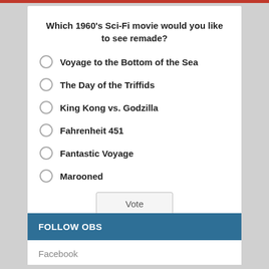Which 1960's Sci-Fi movie would you like to see remade?
Voyage to the Bottom of the Sea
The Day of the Triffids
King Kong vs. Godzilla
Fahrenheit 451
Fantastic Voyage
Marooned
Vote
View Results
FOLLOW OBS
Facebook